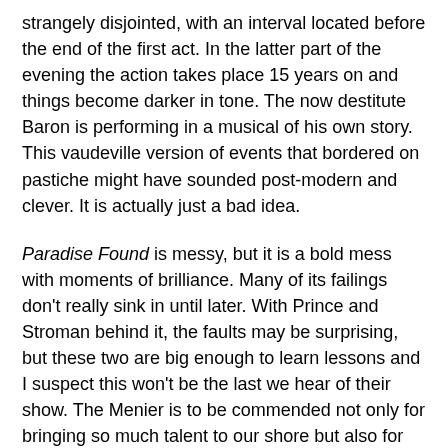strangely disjointed, with an interval located before the end of the first act. In the latter part of the evening the action takes place 15 years on and things become darker in tone. The now destitute Baron is performing in a musical of his own story. This vaudeville version of events that bordered on pastiche might have sounded post-modern and clever. It is actually just a bad idea.
Paradise Found is messy, but it is a bold mess with moments of brilliance. Many of its failings don't really sink in until later. With Prince and Stroman behind it, the faults may be surprising, but these two are big enough to learn lessons and I suspect this won't be the last we hear of their show. The Menier is to be commended not only for bringing so much talent to our shore but also for taking risks. This is what has brought it so much success recently, and it must be careful that it doesn't lose this quality.
Until 26 June 2010